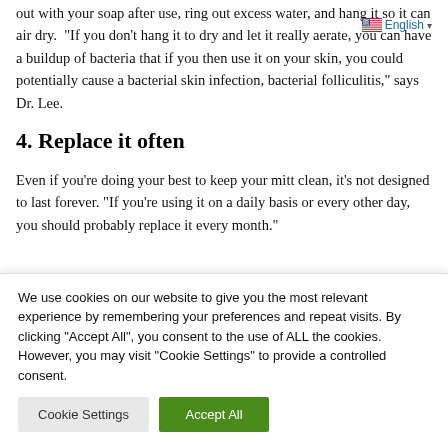out with your soap after use, ring out excess water, and hang it so it can air dry. "If you don't hang it to dry and let it really aerate, you can have a buildup of bacteria that if you then use it on your skin, you could potentially cause a bacterial skin infection, bacterial folliculitis," says Dr. Lee.
4. Replace it often
Even if you're doing your best to keep your mitt clean, it's not designed to last forever. "If you're using it on a daily basis or every other day, you should probably replace it every month."
We use cookies on our website to give you the most relevant experience by remembering your preferences and repeat visits. By clicking "Accept All", you consent to the use of ALL the cookies. However, you may visit "Cookie Settings" to provide a controlled consent.